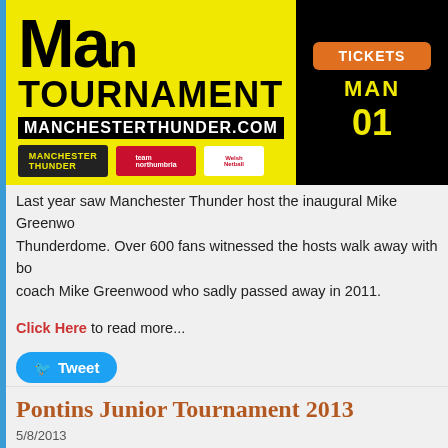[Figure (photo): Manchester Thunder tournament promotional banner with yellow background showing 'MAN TOURNAMENT' text, manchesterthunder.com URL, Thunder and Team Northumbria logos, Welsh Netball logo, and a ticket icon on black background with 'TICKETS' and phone number on right side]
Last year saw Manchester Thunder host the inaugural Mike Greenwood Tournament at the Thunderdome. Over 600 fans witnessed the hosts walk away with both trophies. The tournament is named after former coach Mike Greenwood who sadly passed away in 2011.
Click Here to read more...
Tweet
Pontins Junior Tournament 2013
5/8/2013